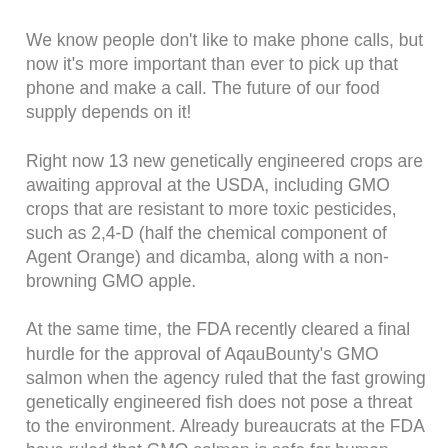We know people don't like to make phone calls, but now it's more important than ever to pick up that phone and make a call. The future of our food supply depends on it!
Right now 13 new genetically engineered crops are awaiting approval at the USDA, including GMO crops that are resistant to more toxic pesticides, such as 2,4-D (half the chemical component of Agent Orange) and dicamba, along with a non-browning GMO apple.
At the same time, the FDA recently cleared a final hurdle for the approval of AqauBounty's GMO salmon when the agency ruled that the fast growing genetically engineered fish does not pose a threat to the environment. Already bureaucrats at the FDA have ruled that GMO salmon is safe for human consumption, despite no independent scientific research and only tiny sample sizes from the corporation that stand to benefit from its approval.
Despite the biotech industry's assurances that GMOs are safe, new science is emerging that calls into question what